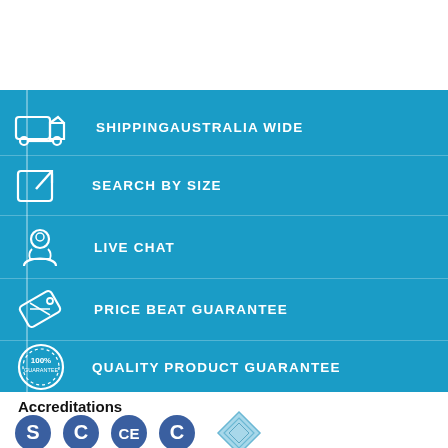[Figure (infographic): Blue banner with 5 feature rows: Shipping Australia Wide (truck icon), Search By Size (external link icon), Live Chat (person/headset icon), Price Beat Guarantee (tag/card icon), Quality Product Guarantee (100% guarantee badge icon). Each row separated by a vertical blue accent line on the left.]
Accreditations
[Figure (infographic): Row of accreditation logos/badges: S badge (dark blue circle), C badge (dark blue circle), CE badge (dark blue circle), C badge (dark blue circle), and a diamond-shaped badge with a checkmark pattern (light blue).]